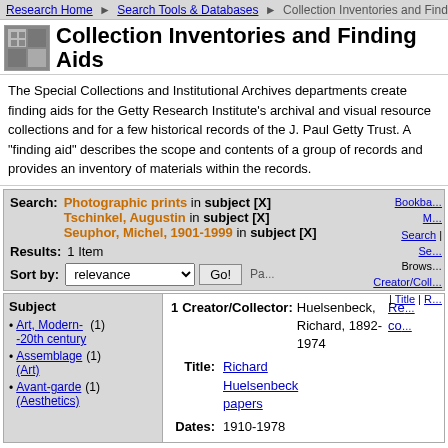Research Home > Search Tools & Databases > Collection Inventories and Finding Aids
Collection Inventories and Finding Aids
The Special Collections and Institutional Archives departments create finding aids for the Getty Research Institute's archival and visual resource collections and for a few historical records of the J. Paul Getty Trust. A "finding aid" describes the scope and contents of a group of records and provides an inventory of materials within the records.
Search: Photographic prints in subject [X] Tschinkel, Augustin in subject [X] Seuphor, Michel, 1901-1999 in subject [X] Results: 1 Item Sort by: relevance Go!
Subject
Art, Modern--20th century (1)
Assemblage (Art) (1)
Avant-garde (Aesthetics) (1)
1 Creator/Collector: Huelsenbeck, Richard, 1892-1974 Title: Richard Huelsenbeck papers Dates: 1910-1978